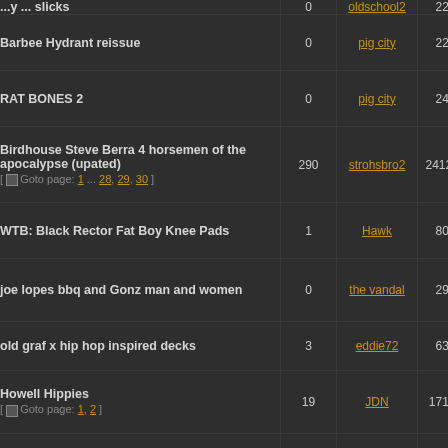| Topic | Replies | Author | Views | Last Post |
| --- | --- | --- | --- | --- |
| slicks | 0 | oldschool2 | 226 |  |
| Barbee Hydrant reissue | 0 | pig city | 222 |  |
| RAT BONES 2 | 0 | pig city | 246 |  |
| Birdhouse Steve Berra 4 horsemen of the apocalypse (upated) [ Goto page: 1 ... 28, 29, 30 ] | 290 | strohsbro2 | 241254 |  |
| WTB: Black Rector Fat Boy Knee Pads | 1 | Hawk | 803 |  |
| joe lopes bbq and Gonz man and women | 0 | the vandal | 290 |  |
| old graf x hip hop inspired decks | 3 | eddie72 | 636 |  |
| Howell Hippies [ Goto page: 1, 2 ] | 19 | JDN | 17147 |  |
| WANT IT NEED IT MUST HAVE IT | 1 | slob-air | 519 |  |
| WANTED: Venture Featherlite trucks | 6 | Menikmati | 3019 |  |